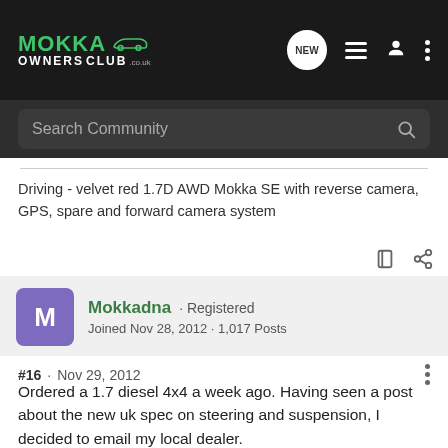[Figure (screenshot): Mokka Owners Club website navigation bar with logo, NEW chat icon, list icon, user icon, and three-dot menu]
[Figure (screenshot): Search Community search bar on dark background]
Driving - velvet red 1.7D AWD Mokka SE with reverse camera, GPS, spare and forward camera system
Mokkadna · Registered
Joined Nov 28, 2012 · 1,017 Posts
#16 · Nov 29, 2012
Ordered a 1.7 diesel 4x4 a week ago. Having seen a post about the new uk spec on steering and suspension, I decided to email my local dealer.
I have just received the following as a response:
You may be correct, Marshall Cars state in a dealers handbook